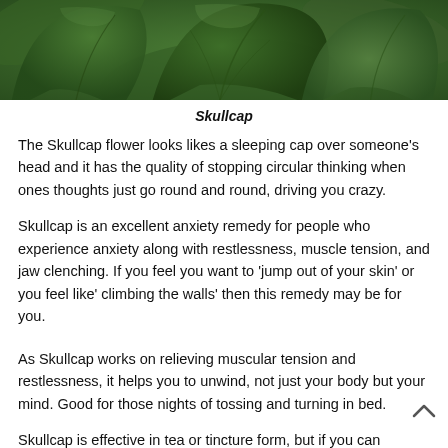[Figure (photo): Close-up photograph of dark green skullcap plant leaves with textured surfaces against a blurred green background]
Skullcap
The Skullcap flower looks likes a sleeping cap over someone's head and it has the quality of stopping circular thinking when ones thoughts just go round and round, driving you crazy.
Skullcap is an excellent anxiety remedy for people who experience anxiety along with restlessness, muscle tension, and jaw clenching. If you feel you want to 'jump out of your skin' or you feel like' climbing the walls' then this remedy may be for you.
As Skullcap works on relieving muscular tension and restlessness, it helps you to unwind, not just your body but your mind. Good for those nights of tossing and turning in bed.
Skullcap is effective in tea or tincture form, but if you can tolerate small amounts of alcohol then taking 20-40 drops of the tincture (for a 150-pound person) is very effective.